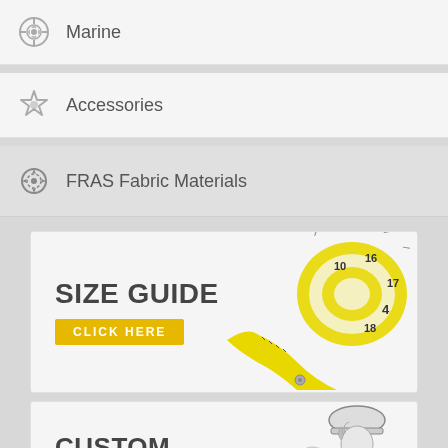Marine
Accessories
FRAS Fabric Materials
[Figure (infographic): SIZE GUIDE banner with a yellow measuring tape coiled on the right side, with a yellow 'CLICK HERE' button below the title.]
[Figure (infographic): CUSTOM MADE banner with a sketch illustration of a worker wearing a safety helmet and yellow belt on the right side, with a yellow 'CLICK HERE' button below the title.]